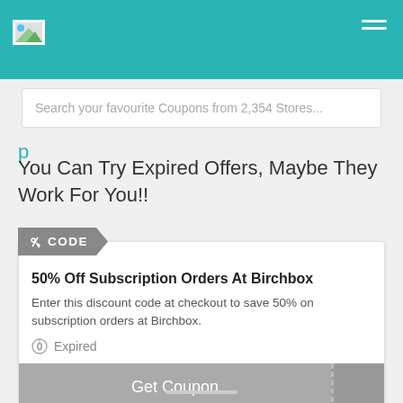[Figure (screenshot): Teal website header bar with logo placeholder and hamburger menu icon]
Search your favourite Coupons from 2,354 Stores...
You Can Try Expired Offers, Maybe They Work For You!!
CODE
50% Off Subscription Orders At Birchbox
Enter this discount code at checkout to save 50% on subscription orders at Birchbox.
Expired
Get Coupon
15 Uses